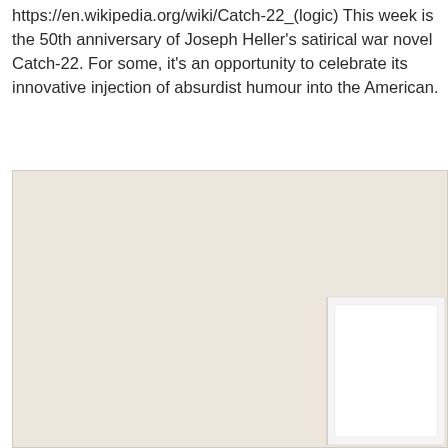https://en.wikipedia.org/wiki/Catch-22_(logic) This week is the 50th anniversary of Joseph Heller's satirical war novel Catch-22. For some, it's an opportunity to celebrate its innovative injection of absurdist humour into the American.
[Figure (photo): A large beige/cream colored background image, likely the cover or a page spread of a book, with a white book or object visible in the lower right corner.]